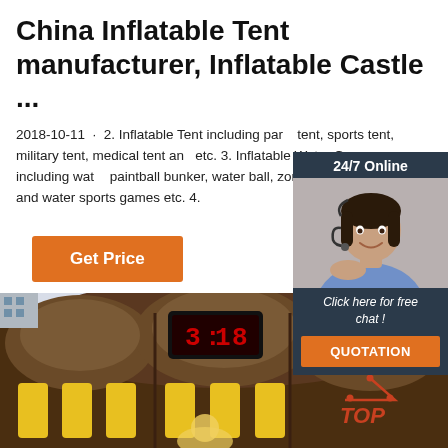China Inflatable Tent manufacturer, Inflatable Castle ...
2018-10-11 · 2. Inflatable Tent including party tent, sports tent, military tent, medical tent and etc. 3. Inflatable Water Games including water paintball bunker, water ball, zorb ball, bumper pool and water sports games etc. 4.
[Figure (other): Orange 'Get Price' button]
[Figure (other): Chat widget overlay showing '24/7 Online', a customer support agent photo, 'Click here for free chat!' text, and an orange QUOTATION button]
[Figure (photo): Bottom portion of a brown inflatable structure with yellow accents and a digital countdown timer display, with a 'TOP' logo in the lower right corner]